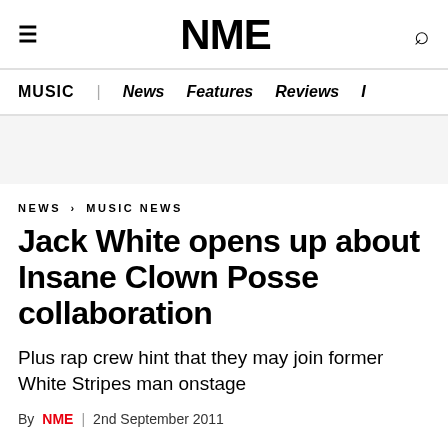NME
MUSIC | News Features Reviews
NEWS › MUSIC NEWS
Jack White opens up about Insane Clown Posse collaboration
Plus rap crew hint that they may join former White Stripes man onstage
By NME | 2nd September 2011